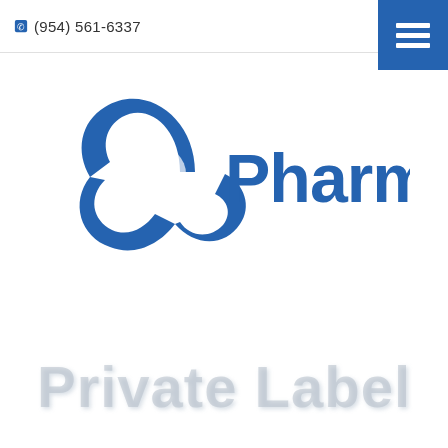(954) 561-6337
[Figure (logo): PharmaTech LLC logo with blue triangular swirl icon and company name in blue and gray text]
Private Label